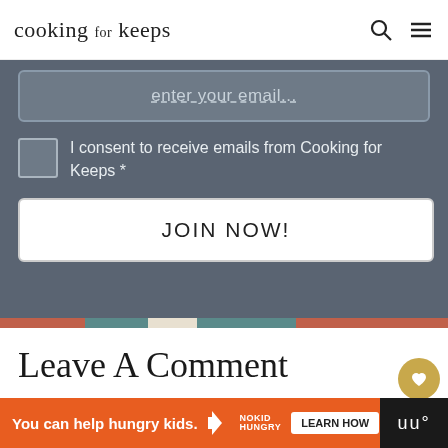cooking for keeps
Enter your email...
I consent to receive emails from Cooking for Keeps *
JOIN NOW!
Leave A Comment
Have a question? Submit your question or comment below.
Comment:*
You can help hungry kids.   NOKID HUNGRY   LEARN HOW